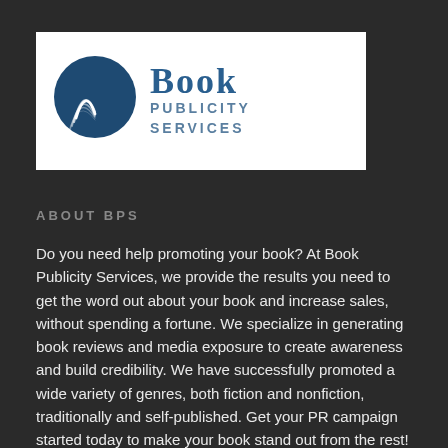[Figure (logo): Book Publicity Services logo: circular dark blue icon with open book pages on left, large text 'Book' above 'Publicity Services' on the right, on white background]
ABOUT BPS
Do you need help promoting your book? At Book Publicity Services, we provide the results you need to get the word out about your book and increase sales, without spending a fortune. We specialize in generating book reviews and media exposure to create awareness and build credibility. We have successfully promoted a wide variety of genres, both fiction and nonfiction, traditionally and self-published. Get your PR campaign started today to make your book stand out from the rest!